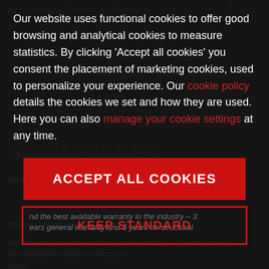ALL AGRICULTURE SOLUTIONS →
Our website uses functional cookies to offer good browsing and analytical cookies to measure statistics. By clicking 'Accept all cookies' you consent the placement of marketing cookies, used to personalize your experience. Our cookie policy details the cookies we set and how they are used. Here you can also manage your cookie settings at any time.
ACCEPT ALL COOKIES
KEEP STANDARD